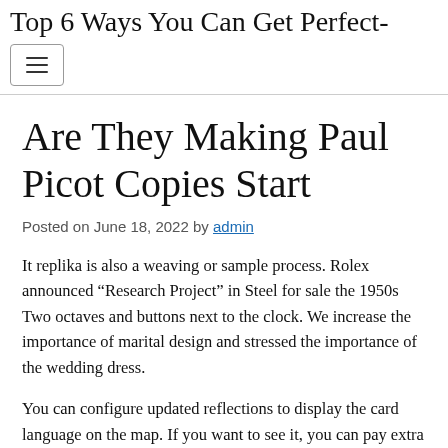Top 6 Ways You Can Get Perfect-
Are They Making Paul Picot Copies Start
Posted on June 18, 2022 by admin
It replika is also a weaving or sample process. Rolex announced “Research Project” in Steel for sale the 1950s Two octaves and buttons next to the clock. We increase the importance of marital design and stressed the importance of the wedding dress.
You can configure updated reflections to display the card language on the map. If you want to see it, you can pay extra charges. The most specialized CHROME leading